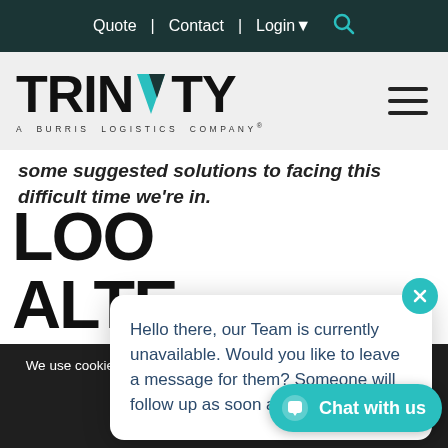Quote | Contact | Login
[Figure (logo): Trinity - A Burris Logistics Company logo with teal accent on N]
some suggested solutions to facing this difficult time we're in.
LOO
ALTE
[Figure (screenshot): Chat popup: Hello there, our Team is currently unavailable. Would you like to leave a message for them? Someone will follow up as soon as possible.]
Hello there, our Team is currently unavailable. Would you like to leave a message for them? Someone will follow up as soon as possible.
We use cookies to ensure that we give you the best experience on our website. For full details, please
ACCEPT
Chat with us